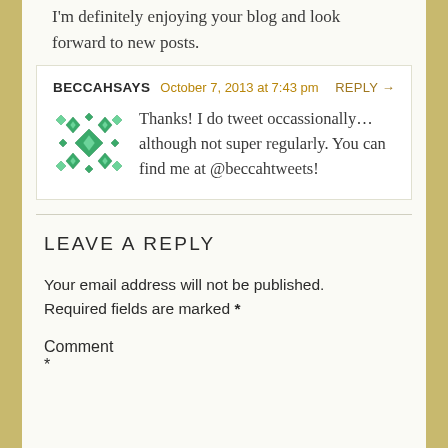I'm definitely enjoying your blog and look forward to new posts.
BECCAHSAYS  October 7, 2013 at 7:43 pm  REPLY →
Thanks! I do tweet occassionally... although not super regularly. You can find me at @beccahtweets!
LEAVE A REPLY
Your email address will not be published. Required fields are marked *
Comment
*